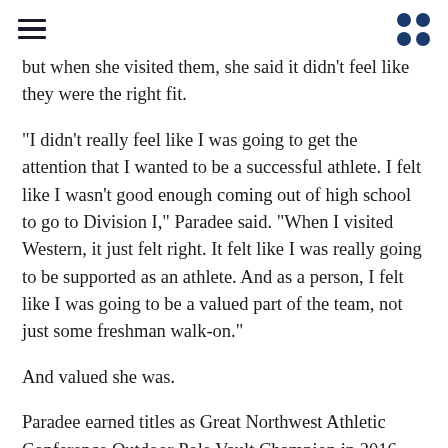but when she visited them, she said it didn't feel like they were the right fit.
“I didn’t really feel like I was going to get the attention that I wanted to be a successful athlete. I felt like I wasn’t good enough coming out of high school to go to Division I,” Paradee said. “When I visited Western, it just felt right. It felt like I was really going to be supported as an athlete. And as a person, I felt like I was going to be a valued part of the team, not just some freshman walk-on.”
And valued she was.
Paradee earned titles as Great Northwest Athletic Conference Outdoor Pole Vault Champion in 2016, 3.53m, U.S. Track & Field and Cross Country Coaches Association Division II All-American in 2017, and GNAC Indoor Pole Vault Champion in 2017. She also beat